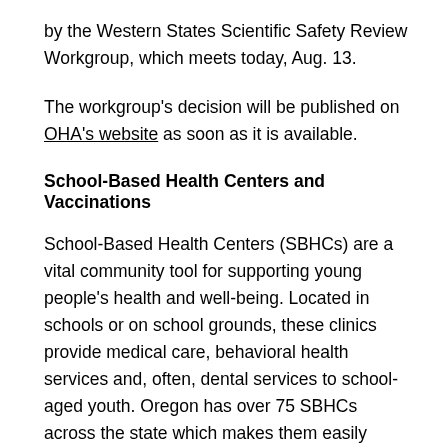by the Western States Scientific Safety Review Workgroup, which meets today, Aug. 13.
The workgroup's decision will be published on OHA's website as soon as it is available.
School-Based Health Centers and Vaccinations
School-Based Health Centers (SBHCs) are a vital community tool for supporting young people's health and well-being. Located in schools or on school grounds, these clinics provide medical care, behavioral health services and, often, dental services to school-aged youth. Oregon has over 75 SBHCs across the state which makes them easily accessible for many families.
SBHCs can make sure that your child is prepared to